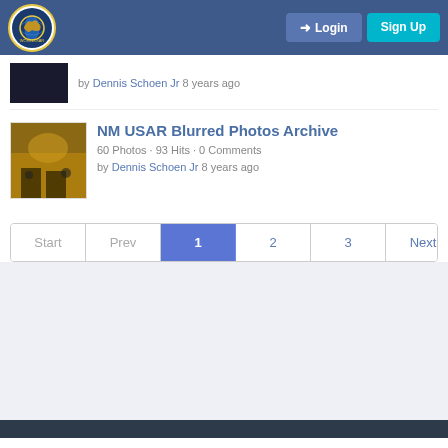Login | Sign Up
by Dennis Schoen Jr 8 years ago
NM USAR Blurred Photos Archive
60 Photos · 93 Hits · 0 Comments
by Dennis Schoen Jr 8 years ago
Start | Prev | 1 | 2 | 3 | Next | End